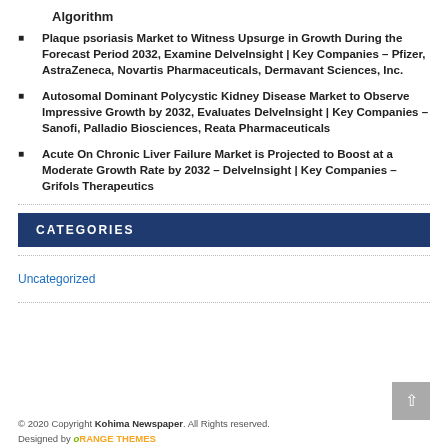Algorithm
Plaque psoriasis Market to Witness Upsurge in Growth During the Forecast Period 2032, Examine DelveInsight | Key Companies – Pfizer, AstraZeneca, Novartis Pharmaceuticals, Dermavant Sciences, Inc.
Autosomal Dominant Polycystic Kidney Disease Market to Observe Impressive Growth by 2032, Evaluates DelveInsight | Key Companies – Sanofi, Palladio Biosciences, Reata Pharmaceuticals
Acute On Chronic Liver Failure Market is Projected to Boost at a Moderate Growth Rate by 2032 – DelveInsight | Key Companies – Grifols Therapeutics
CATEGORIES
Uncategorized
© 2020 Copyright Kohima Newspaper. All Rights reserved.
Designed by ORANGE THEMES